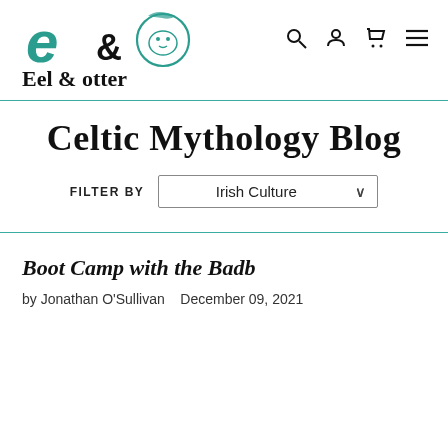[Figure (logo): Eel and Otter logo with a stylized green 'e&o' and an otter illustration, with text 'Eel & Otter' below in handwritten style]
Celtic Mythology Blog
FILTER BY  Irish Culture
Boot Camp with the Badb
by Jonathan O'Sullivan  December 09, 2021